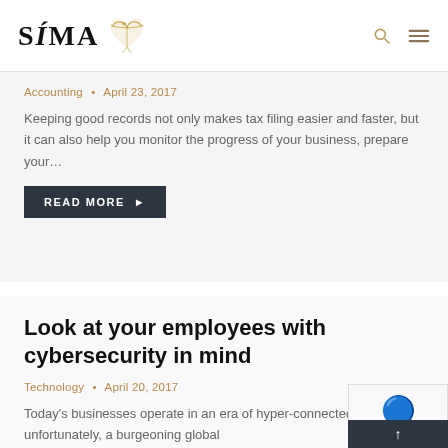SÍMA
Accounting • April 23, 2017
Keeping good records not only makes tax filing easier and faster, but it can also help you monitor the progress of your business, prepare your...
READ MORE ▶
Look at your employees with cybersecurity in mind
Technology • April 20, 2017
Today's businesses operate in an era of hyper-connectedness and, unfortunately, a burgeoning global